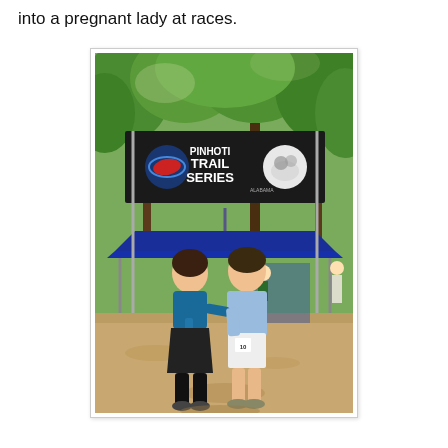into a pregnant lady at races.
[Figure (photo): Two people standing under a blue canopy tent at an outdoor trail race event, beneath a large black banner reading 'PINHOTI TRAIL SERIES' with logos. The setting is a wooded area with dirt ground. One person wears a black skirt with tall black socks and a blue vest; the other wears a light blue shirt and white shorts.]